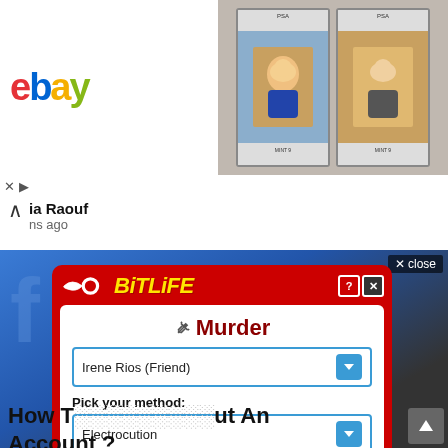[Figure (screenshot): eBay advertisement banner: eBay logo on left, text 'Vault your cards today and save' with subtext and enroll button in center on dark background, two graded baseball cards on right]
ia Raouf
ns ago
[Figure (screenshot): Screenshot showing BitLife game ad popup overlaid on a Facebook page background. The BitLife popup has a red background, yellow 'BitLiFE' logo at top, and a white inner panel with 'Murder' title, a knife icon, dropdown for 'Irene Rios (Friend)', 'Pick your method:' label, dropdown for 'Electrocution', a blue 'Do it!' button, and a blue 'No, what am I thinking?' button. Top right has an 'x close' button.]
How T…ut An Account ?